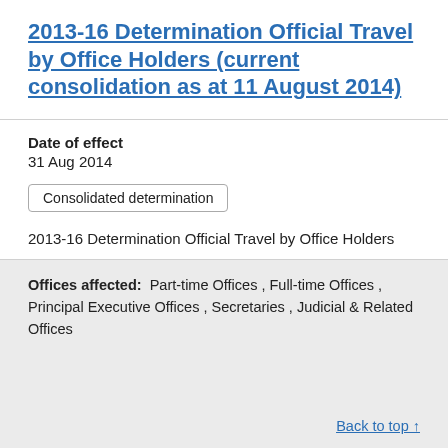2013-16 Determination Official Travel by Office Holders (current consolidation as at 11 August 2014)
Date of effect
31 Aug 2014
Consolidated determination
2013-16 Determination Official Travel by Office Holders
Offices affected: Part-time Offices , Full-time Offices , Principal Executive Offices , Secretaries , Judicial & Related Offices
Back to top ↑